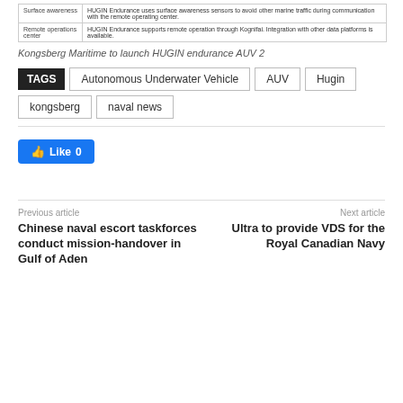|  |  |
| --- | --- |
| Surface awareness | HUGIN Endurance uses surface awareness sensors to avoid other marine traffic during communication with the remote operating center. |
| Remote operations center | HUGIN Endurance supports remote operation through Kognifai. Integration with other data platforms is available. |
Kongsberg Maritime to launch HUGIN endurance AUV 2
TAGS  Autonomous Underwater Vehicle  AUV  Hugin  kongsberg  naval news
[Figure (other): Facebook Like button showing 0 likes]
Previous article
Chinese naval escort taskforces conduct mission-handover in Gulf of Aden
Next article
Ultra to provide VDS for the Royal Canadian Navy